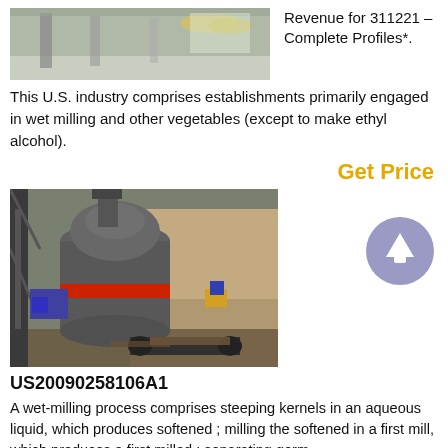[Figure (photo): Industrial milling equipment interior, light-coloured industrial machines on a polished floor]
Revenue for 311221 – Complete Profiles*.
This U.S. industry comprises establishments primarily engaged in wet milling and other vegetables (except to make ethyl alcohol).
Get Price
[Figure (photo): Large industrial vertical mill machine outdoors near a rock cliff, with red and grey components and conveyor belt]
US20090258106A1
A wet-milling process comprises steeping kernels in an aqueous liquid, which produces softened ; milling the softened in a first mill, which produces a first milled ; separating germ